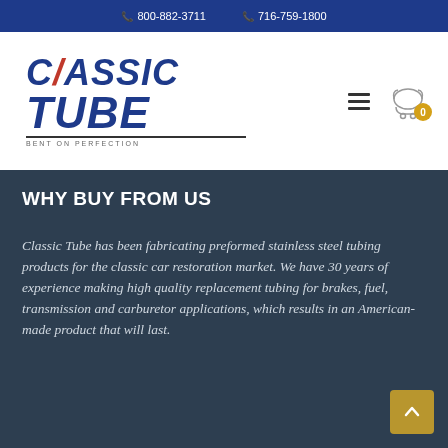📞 800-882-3711   📞 716-759-1800
[Figure (logo): Classic Tube logo with italic bold blue text reading CLASSIC TUBE with tagline BENT ON PERFECTION]
WHY BUY FROM US
Classic Tube has been fabricating preformed stainless steel tubing products for the classic car restoration market. We have 30 years of experience making high quality replacement tubing for brakes, fuel, transmission and carburetor applications, which results in an American-made product that will last.